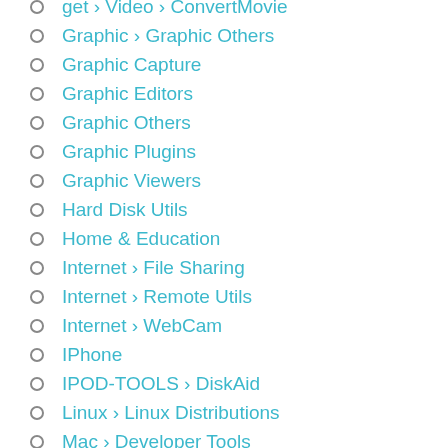get › Video › ConvertMovie
Graphic › Graphic Others
Graphic Capture
Graphic Editors
Graphic Others
Graphic Plugins
Graphic Viewers
Hard Disk Utils
Home & Education
Internet › File Sharing
Internet › Remote Utils
Internet › WebCam
IPhone
IPOD-TOOLS › DiskAid
Linux › Linux Distributions
Mac › Developer Tools